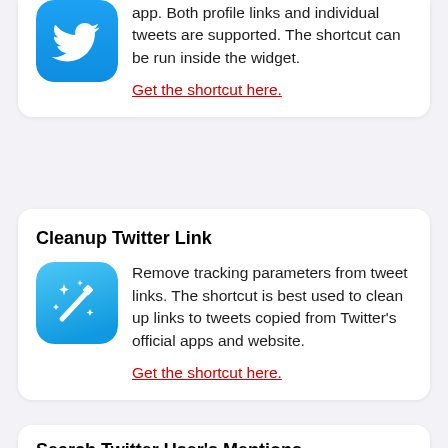app. Both profile links and individual tweets are supported. The shortcut can be run inside the widget.
Get the shortcut here.
Cleanup Twitter Link
[Figure (illustration): Blue rounded square app icon with a magic wand and sparkles]
Remove tracking parameters from tweet links. The shortcut is best used to clean up links to tweets copied from Twitter's official apps and website.
Get the shortcut here.
Search Twitter User's Mentions